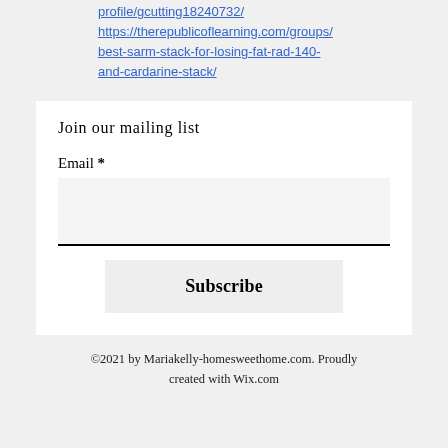profile/gcutting18240732/ https://therepublicoflearning.com/groups/best-sarm-stack-for-losing-fat-rad-140-and-cardarine-stack/
Join our mailing list
Email *
Subscribe
©2021 by Mariakelly-homesweethome.com. Proudly created with Wix.com